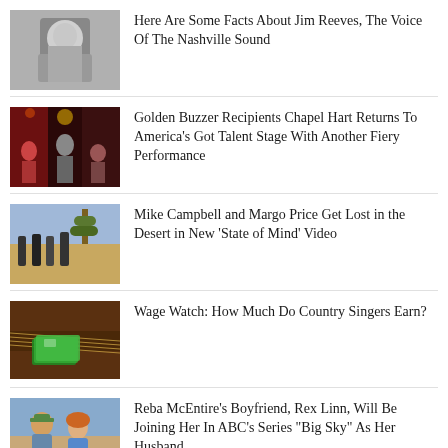[Figure (photo): Black and white photo of Jim Reeves]
Here Are Some Facts About Jim Reeves, The Voice Of The Nashville Sound
[Figure (photo): Performance photo of Chapel Hart on stage with dramatic lighting]
Golden Buzzer Recipients Chapel Hart Returns To America’s Got Talent Stage With Another Fiery Performance
[Figure (photo): Band photo of Mike Campbell and Margo Price in desert setting]
Mike Campbell and Margo Price Get Lost in the Desert in New ‘State of Mind’ Video
[Figure (photo): Guitar with money on top for Wage Watch article]
Wage Watch: How Much Do Country Singers Earn?
[Figure (photo): Reba McEntire and Rex Linn couple photo]
Reba McEntire’s Boyfriend, Rex Linn, Will Be Joining Her In ABC’s Series “Big Sky” As Her Husband